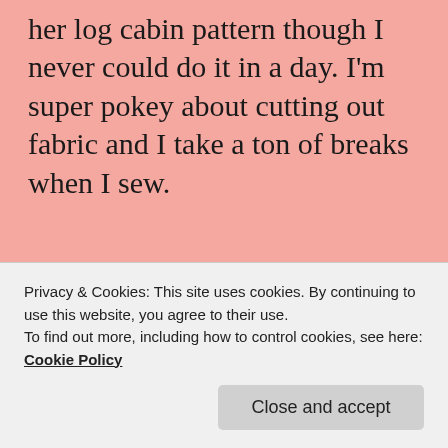her log cabin pattern though I never could do it in a day. I'm super pokey about cutting out fabric and I take a ton of breaks when I sew.
★ Like
REPLY
introduce you to her, she truly is an
Privacy & Cookies: This site uses cookies. By continuing to use this website, you agree to their use.
To find out more, including how to control cookies, see here: Cookie Policy
Close and accept